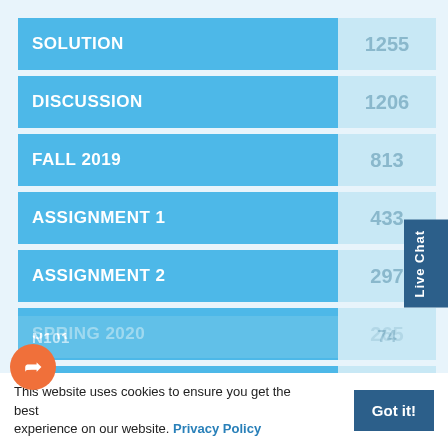[Figure (bar-chart): Search results chart]
This website uses cookies to ensure you get the best experience on our website. Privacy Policy